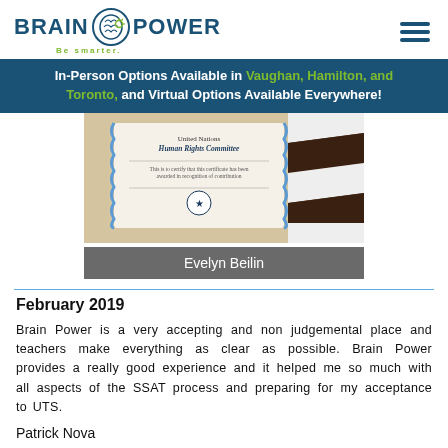BRAIN POWER — Be smarter.
In-Person Options Available in Vaughan, Hamilton, and Toronto, and Virtual Options Available Everywhere!
[Figure (photo): Photo of a United Nations Human Rights Committee certificate held by a person, with a caption bar reading 'Evelyn Beilin']
February 2019
Brain Power is a very accepting and non judgemental place and teachers make everything as clear as possible. Brain Power provides a really good experience and it helped me so much with all aspects of the SSAT process and preparing for my acceptance to UTS.
Patrick Nova